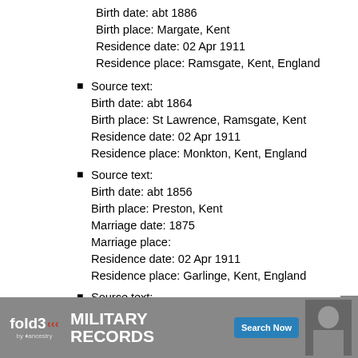Birth date: abt 1886
Birth place: Margate, Kent
Residence date: 02 Apr 1911
Residence place: Ramsgate, Kent, England
Source text:
Birth date: abt 1864
Birth place: St Lawrence, Ramsgate, Kent
Residence date: 02 Apr 1911
Residence place: Monkton, Kent, England
Source text:
Birth date: abt 1856
Birth place: Preston, Kent
Marriage date: 1875
Marriage place:
Residence date: 02 Apr 1911
Residence place: Garlinge, Kent, England
Source text:
Birth date: abt 1853
Birth place: Monkton, Kent
Residence date: 02 Apr 1911
Residence place: Garlinge, Kent, England
Source text:
Birth date: abt 1888
[Figure (infographic): Fold3 by Ancestry advertisement banner for Military Records with Search Now button and soldier photo]